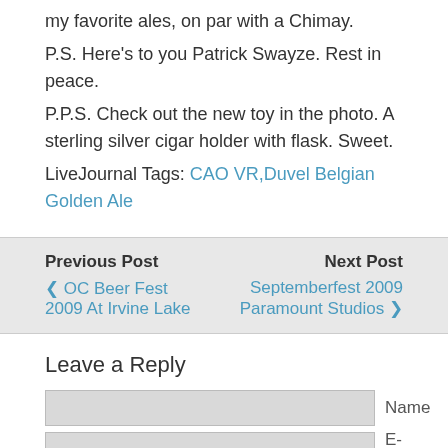my favorite ales, on par with a Chimay.
P.S.  Here's to you Patrick Swayze.  Rest in peace.
P.P.S.  Check out the new toy in the photo.  A sterling silver cigar holder with flask.  Sweet.
LiveJournal Tags: CAO VR,Duvel Belgian Golden Ale
Previous Post
< OC Beer Fest 2009 At Irvine Lake
Next Post
Septemberfest 2009 Paramount Studios >
Leave a Reply